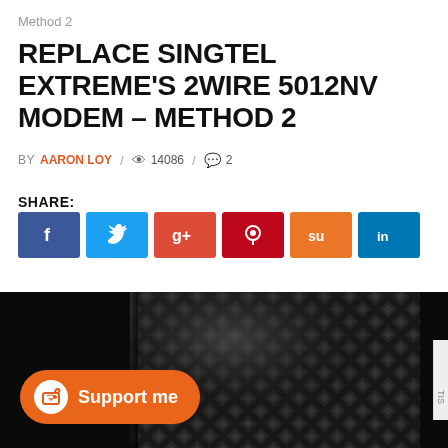Method 2
REPLACE SINGTEL EXTREME'S 2WIRE 5012NV MODEM – METHOD 2
BY AARON LOY / 14086 / 2
SHARE:
[Figure (infographic): Row of six social share buttons: Facebook (dark blue, f), Twitter (light blue, bird), Google+ (red, g+), Pinterest (dark red, p), StumbleUpon (orange, su), LinkedIn (blue, in)]
[Figure (photo): Close-up photo of a black 2Wire 5012NV modem showing a diagonal grid/mesh pattern on the surface with a blue LED light visible]
[Figure (infographic): Orange 'Support me' button with Ko-fi cup icon on the left]